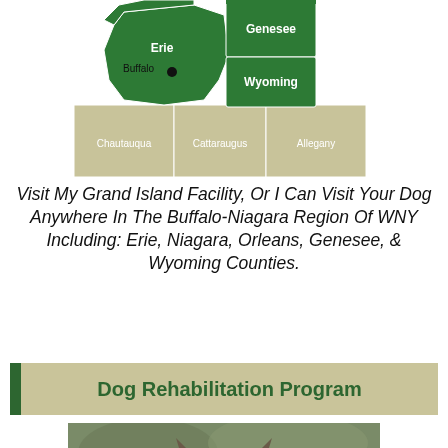[Figure (map): Map of Western New York counties. Erie (with Buffalo marked), Niagara, Genesee, Wyoming counties highlighted in dark green. Chautauqua, Cattaraugus, Allegany shown in tan/beige.]
Visit My Grand Island Facility, Or I Can Visit Your Dog Anywhere In The Buffalo-Niagara Region Of WNY Including: Erie, Niagara, Orleans, Genesee, & Wyoming Counties.
Dog Rehabilitation Program
[Figure (photo): Close-up photo of a dog (appears to be a German Shepherd or similar breed) face/head from behind, looking toward camera, with green foliage in background.]